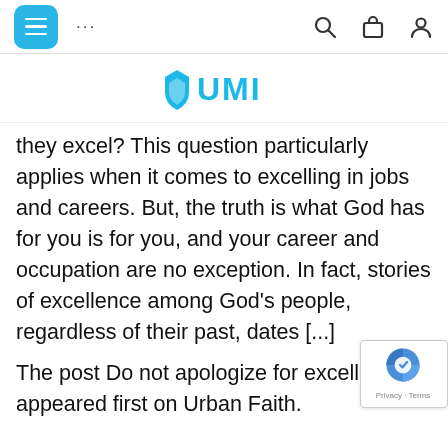UMI navigation bar with menu, dots, search, bag, and user icons
[Figure (logo): UMI logo with blue shield/leaf icon and UMI text in bold cyan]
they excel? This question particularly applies when it comes to excelling in jobs and careers. But, the truth is what God has for you is for you, and your career and occupation are no exception. In fact, stories of excellence among God's people, regardless of their past, dates [...]
The post Do not apologize for excelle appeared first on Urban Faith.